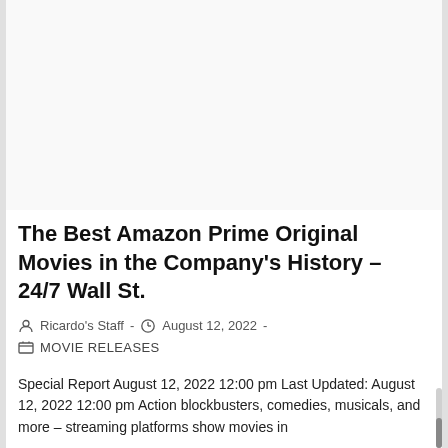[Figure (other): Blank/white placeholder image area at the top of the article page]
The Best Amazon Prime Original Movies in the Company's History – 24/7 Wall St.
Ricardo's Staff  -  August 12, 2022  -
MOVIE RELEASES
Special Report August 12, 2022 12:00 pm Last Updated: August 12, 2022 12:00 pm Action blockbusters, comedies, musicals, and more – streaming platforms show movies in